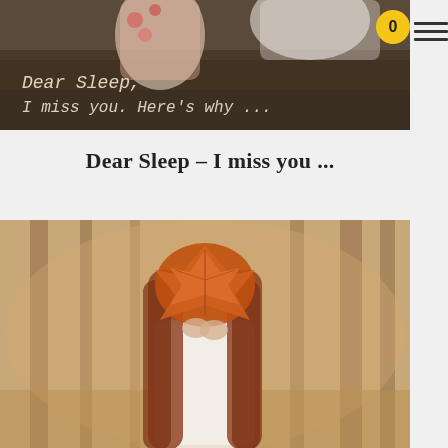[Figure (photo): A romantic/dreamy outdoor photograph of two women in floral and white dresses lying in a field, with overlaid text reading 'Dear Sleep, I miss you. Here's why ...' in a vintage typewriter font]
Dear Sleep – I miss you ...
[Figure (photo): A vintage-toned outdoor photograph of a young woman with long auburn hair holding a large orange maple leaf over her face, wearing a white blouse, standing in a forest with blurred trees in the background]